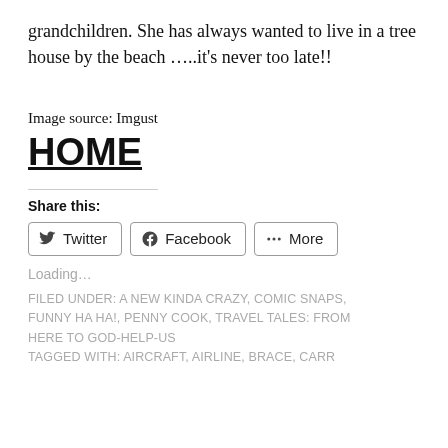grandchildren. She has always wanted to live in a tree house by the beach …..it's never too late!!
Image source: Imgust
HOME
Share this:
Twitter  Facebook  More
Loading...
FILED UNDER: A NEW KINDA CRAZY, COMIC SNAPS, FUNNY HA HA!, PENNY COOK, TRAVEL TALES: FROM HERE TO GOD-HELP-US
TAGGED WITH: AIRCRAFT, AIRLINE, BRACE, CARR